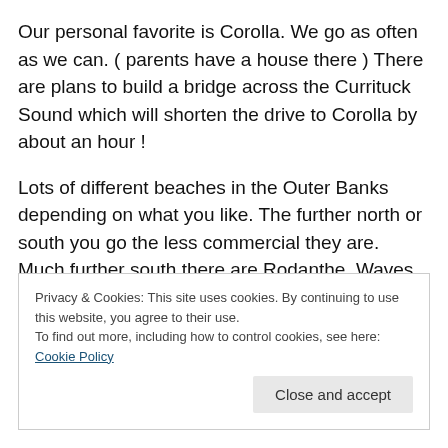Our personal favorite is Corolla. We go as often as we can. ( parents have a house there ) There are plans to build a bridge across the Currituck Sound which will shorten the drive to Corolla by about an hour !
Lots of different beaches in the Outer Banks depending on what you like. The further north or south you go the less commercial they are. Much further south there are Rodanthe, Waves, Hatteras ( almost 6 hours to Hatteras) and you can take the ferry to Ocracoke a neat
Privacy & Cookies: This site uses cookies. By continuing to use this website, you agree to their use.
To find out more, including how to control cookies, see here: Cookie Policy
Close and accept